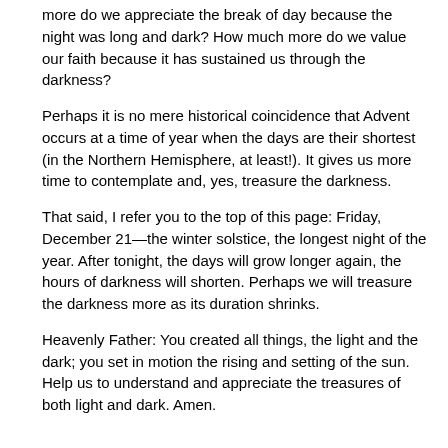more do we appreciate the break of day because the night was long and dark? How much more do we value our faith because it has sustained us through the darkness?
Perhaps it is no mere historical coincidence that Advent occurs at a time of year when the days are their shortest (in the Northern Hemisphere, at least!). It gives us more time to contemplate and, yes, treasure the darkness.
That said, I refer you to the top of this page: Friday, December 21—the winter solstice, the longest night of the year. After tonight, the days will grow longer again, the hours of darkness will shorten. Perhaps we will treasure the darkness more as its duration shrinks.
Heavenly Father: You created all things, the light and the dark; you set in motion the rising and setting of the sun. Help us to understand and appreciate the treasures of both light and dark. Amen.